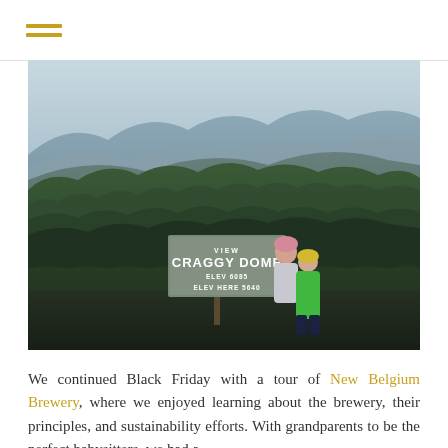[Figure (photo): Two people wearing winter hats and jackets standing in front of a 'View Craggy Dome ELEV 6085 ELEV HERE 5640' sign, surrounded by dense trees with misty mountain ranges in the background.]
We continued Black Friday with a tour of New Belgium Brewery, where we enjoyed learning about the brewery, their principles, and sustainability efforts. With grandparents to be the perfect babysitters, we had a